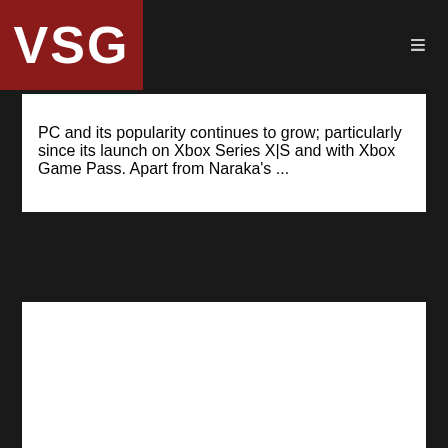VSG
PC and its popularity continues to grow; particularly since its launch on Xbox Series X|S and with Xbox Game Pass. Apart from Naraka's ...